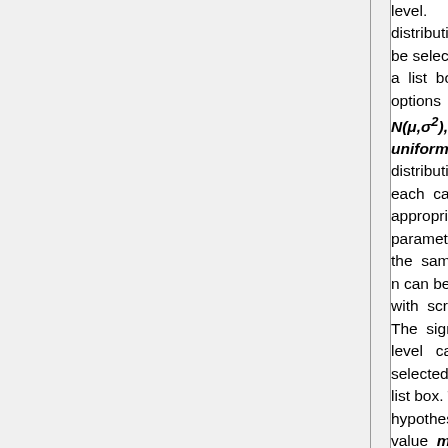level. distribution can be selected from a list box; options are N(μ,σ²), Γ, and uniform distributions. In each case, the appropriate parameters and the sample size n can be varied with scroll bars. The significance level can be selected with a list box. The hypothesized value m0 of the median can be selected with a scroll bar; true